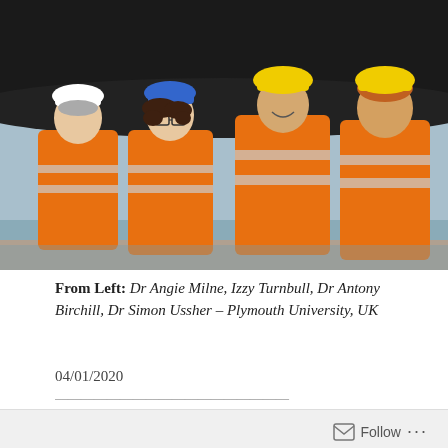[Figure (photo): Four researchers in orange high-visibility jackets and hard hats (white, blue, yellow, yellow) standing in front of a large dark ship hull. From left: Dr Angie Milne, Izzy Turnbull, Dr Antony Birchill, Dr Simon Ussher.]
From Left: Dr Angie Milne, Izzy Turnbull, Dr Antony Birchill, Dr Simon Ussher – Plymouth University, UK
04/01/2020